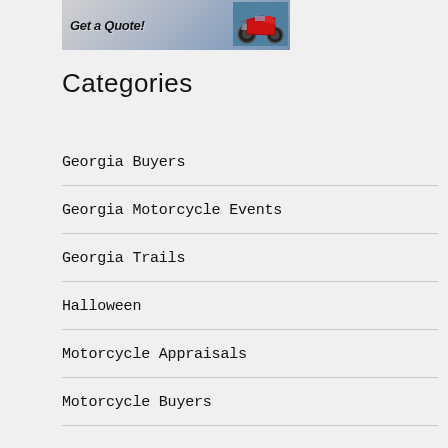[Figure (photo): Banner image with 'Get a Quote!' text and a red motorcycle on a road background]
Categories
Georgia Buyers
Georgia Motorcycle Events
Georgia Trails
Halloween
Motorcycle Appraisals
Motorcycle Buyers